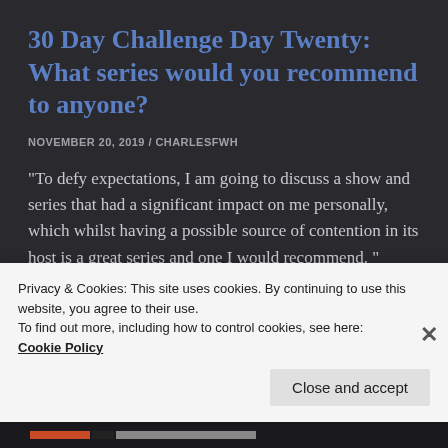30 Day Challenge Day Twenty: What series would you recommend to anyone?
NOVEMBER 20, 2019 / CHARLESFWH
"To defy expectations, I am going to discuss a show and series that had a significant impact on me personally, which whilst having a possible source of contention in its host is a great series and one I would recommend. " Continue reading
Privacy & Cookies: This site uses cookies. By continuing to use this website, you agree to their use.
To find out more, including how to control cookies, see here:
Cookie Policy
Close and accept